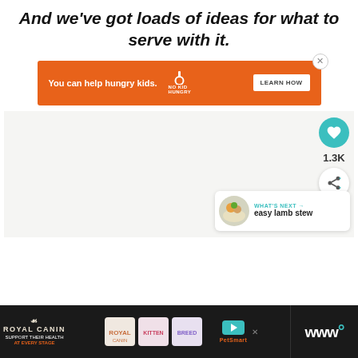And we've got loads of ideas for what to serve with it.
[Figure (screenshot): Orange advertisement banner for No Kid Hungry with text 'You can help hungry kids.' and a 'LEARN HOW' button, with a close X icon in the top-right corner.]
[Figure (screenshot): UI elements showing heart/like button (teal circle with heart icon), 1.3K count label, share button. Also a 'WHAT'S NEXT' card showing easy lamb stew with a food image.]
[Figure (screenshot): Bottom advertisement bar with Royal Canin branding on left ('Support their health at every stage'), cat food product images in center, PetSmart logo, and Whisk app logo on right.]